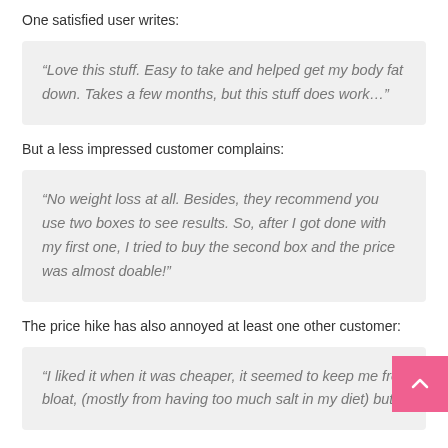One satisfied user writes:
“Love this stuff. Easy to take and helped get my body fat down. Takes a few months, but this stuff does work…”
But a less impressed customer complains:
“No weight loss at all. Besides, they recommend you use two boxes to see results. So, after I got done with my first one, I tried to buy the second box and the price was almost doable!”
The price hike has also annoyed at least one other customer:
“I liked it when it was cheaper, it seemed to keep me fro… bloat, (mostly from having too much salt in my diet) but